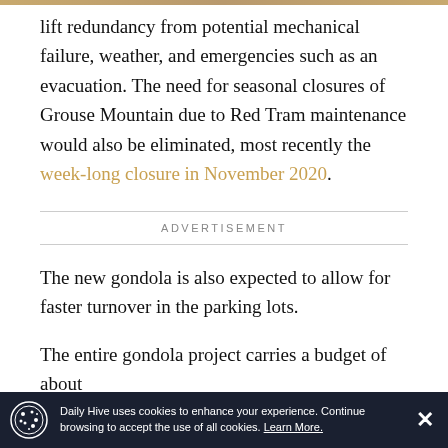lift redundancy from potential mechanical failure, weather, and emergencies such as an evacuation. The need for seasonal closures of Grouse Mountain due to Red Tram maintenance would also be eliminated, most recently the week-long closure in November 2020.
ADVERTISEMENT
The new gondola is also expected to allow for faster turnover in the parking lots.
The entire gondola project carries a budget of about
Daily Hive uses cookies to enhance your experience. Continue browsing to accept the use of all cookies. Learn More.